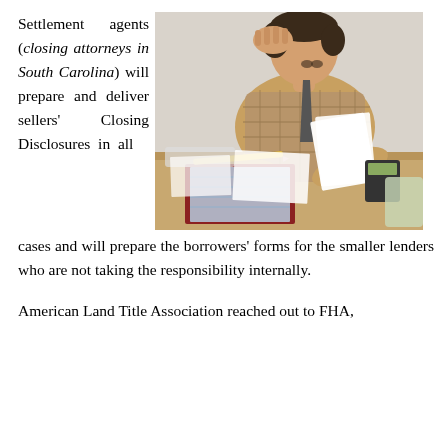Settlement agents (closing attorneys in South Carolina) will prepare and deliver sellers' Closing Disclosures in all cases and will prepare the borrowers' forms for the smaller lenders who are not taking the responsibility internally.
[Figure (photo): A man in a plaid shirt sitting at a desk, holding papers and resting his head on one hand, appearing stressed. Papers, a binder, a pencil, and other office items are spread on the desk.]
American Land Title Association reached out to FHA,